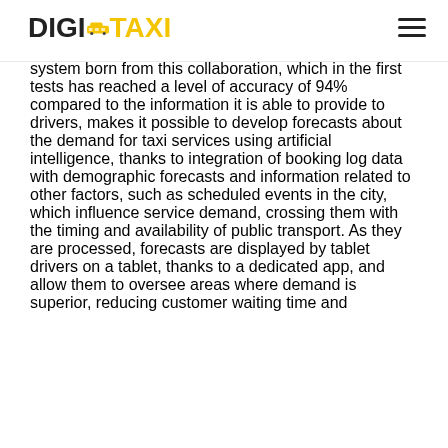DIGITAXI (logo with taxi icon and hamburger menu)
Accenture, Toyota, Japan Taxi, and Kddi, with the first tests underway in the Tokyo metropolitan area. The system born from this collaboration, which in the first tests has reached a level of accuracy of 94% compared to the information it is able to provide to drivers, makes it possible to develop forecasts about the demand for taxi services using artificial intelligence, thanks to integration of booking log data with demographic forecasts and information related to other factors, such as scheduled events in the city, which influence service demand, crossing them with the timing and availability of public transport. As they are processed, forecasts are displayed by tablet drivers on a tablet, thanks to a dedicated app, and allow them to oversee areas where demand is superior, reducing customer waiting time and